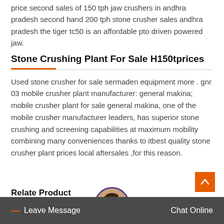price second sales of 150 tph jaw crushers in andhra pradesh second hand 200 tph stone crusher sales andhra pradesh the tiger tc50 is an affordable pto driven powered jaw.
Stone Crushing Plant For Sale H150tprices
Used stone crusher for sale sermaden equipment more . gnr 03 mobile crusher plant manufacturer: general makina; mobile crusher plant for sale general makina, one of the mobile crusher manufacturer leaders, has superior stone crushing and screening capabilities at maximum mobility combining many conveniences thanks to itbest quality stone crusher plant prices local aftersales ,for this reason.
Relate Product
— Leave Message
Chat Online